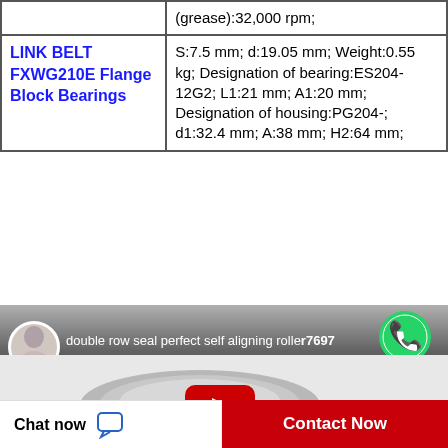| Product | Specifications |
| --- | --- |
|  | (grease):32,000 rpm; |
| LINK BELT FXWG210E Flange Block Bearings | S:7.5 mm; d:19.05 mm; Weight:0.55 kg; Designation of bearing:ES204-12G2; L1:21 mm; A1:20 mm; Designation of housing:PG204-; d1:32.4 mm; A:38 mm; H2:64 mm; |
[Figure (screenshot): YouTube video thumbnail showing 'double row seal perfect self aligning roller7697' with WhatsApp Online overlay icon]
[Figure (photo): Product photo of a bearing component with YouTube play button overlay]
Chat now
Contact Now